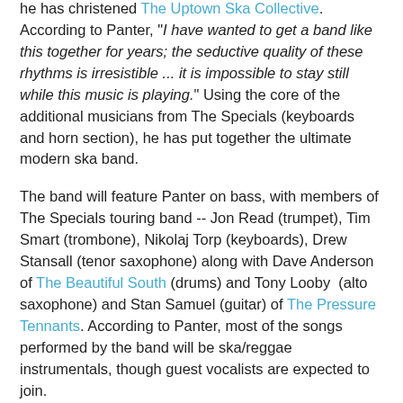he has christened The Uptown Ska Collective. According to Panter, "I have wanted to get a band like this together for years; the seductive quality of these rhythms is irresistible ... it is impossible to stay still while this music is playing." Using the core of the additional musicians from The Specials (keyboards and horn section), he has put together the ultimate modern ska band.
The band will feature Panter on bass, with members of The Specials touring band -- Jon Read (trumpet), Tim Smart (trombone), Nikolaj Torp (keyboards), Drew Stansall (tenor saxophone) along with Dave Anderson of The Beautiful South (drums) and Tony Looby (alto saxophone) and Stan Samuel (guitar) of The Pressure Tennants. According to Panter, most of the songs performed by the band will be ska/reggae instrumentals, though guest vocalists are expected to join.
"The guys I'm using are seasoned musicians; they all know one another so the musical rapport is amazing and, like me, they live and breathe this stuff," said Panter. 'This stuff' is classic ska, based around the work of the legendary